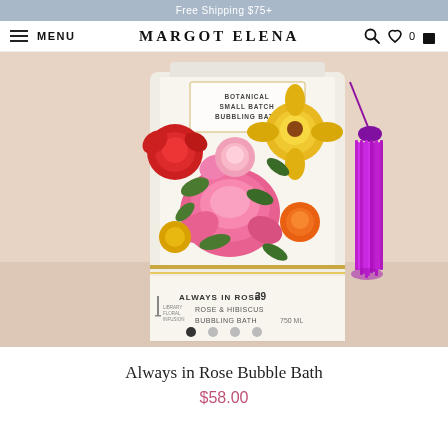Free Shipping $75+
MENU  MARGOT ELENA  0
[Figure (photo): A bottle of Margot Elena 'Always in Rose' Botanical Small Batch Bubbling Bath product with a floral label featuring roses in pink, red, yellow and orange colors, and a purple/magenta tassel hanging from the bottle neck, photographed against a soft pink background.]
Always in Rose Bubble Bath
$58.00